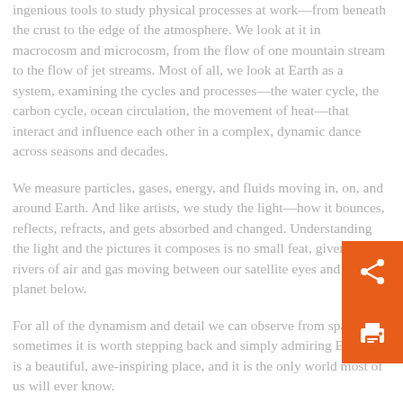ingenious tools to study physical processes at work—from beneath the crust to the edge of the atmosphere. We look at it in macrocosm and microcosm, from the flow of one mountain stream to the flow of jet streams. Most of all, we look at Earth as a system, examining the cycles and processes—the water cycle, the carbon cycle, ocean circulation, the movement of heat—that interact and influence each other in a complex, dynamic dance across seasons and decades.

We measure particles, gases, energy, and fluids moving in, on, and around Earth. And like artists, we study the light—how it bounces, reflects, refracts, and gets absorbed and changed. Understanding the light and the pictures it composes is no small feat, given the rivers of air and gas moving between our satellite eyes and the planet below.

For all of the dynamism and detail we can observe from space, sometimes it is worth stepping back and simply admiring Earth. It is a beautiful, awe-inspiring place, and it is the only world most of us will ever know.